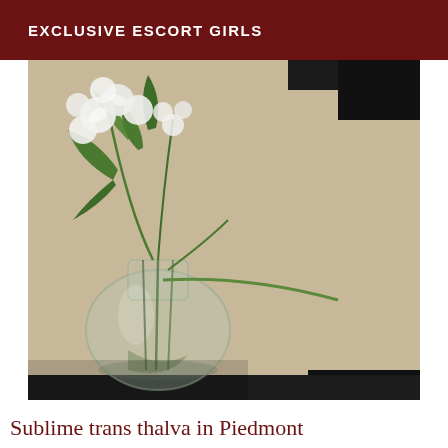EXCLUSIVE ESCORT GIRLS
[Figure (photo): A glass vase filled with white flowers and green stems and leaves, placed on a surface. The background shows a beige/tan surface to the right and dark edges at the top.]
Sublime trans thalva in Piedmont